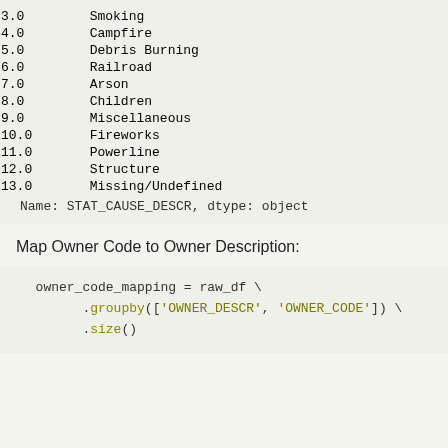|  |  |
| --- | --- |
| 3.0 | Smoking |
| 4.0 | Campfire |
| 5.0 | Debris Burning |
| 6.0 | Railroad |
| 7.0 | Arson |
| 8.0 | Children |
| 9.0 | Miscellaneous |
| 10.0 | Fireworks |
| 11.0 | Powerline |
| 12.0 | Structure |
| 13.0 | Missing/Undefined |
Name: STAT_CAUSE_DESCR, dtype: object
Map Owner Code to Owner Description:
owner_code_mapping = raw_df \
    .groupby(['OWNER_DESCR', 'OWNER_CODE']) \
    .size()